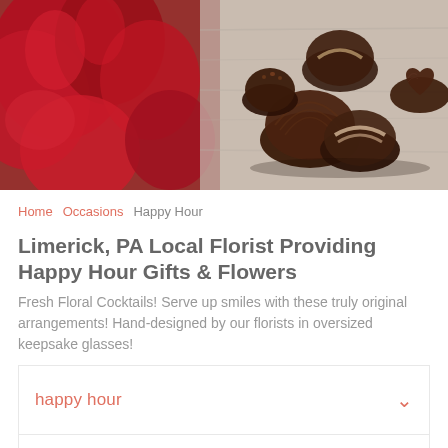[Figure (photo): Banner photo showing red roses on the left and chocolate truffles/candies on the right, on a light wooden surface.]
Home  Occasions  Happy Hour
Limerick, PA Local Florist Providing Happy Hour Gifts & Flowers
Fresh Floral Cocktails! Serve up smiles with these truly original arrangements! Hand-designed by our florists in oversized keepsake glasses!
happy hour
price range